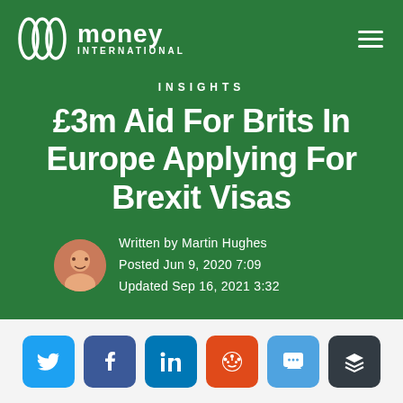money INTERNATIONAL
INSIGHTS
£3m Aid For Brits In Europe Applying For Brexit Visas
Written by Martin Hughes
Posted Jun 9, 2020 7:09
Updated Sep 16, 2021 3:32
[Figure (other): Social share buttons: Twitter, Facebook, LinkedIn, Reddit, Comment, Buffer]